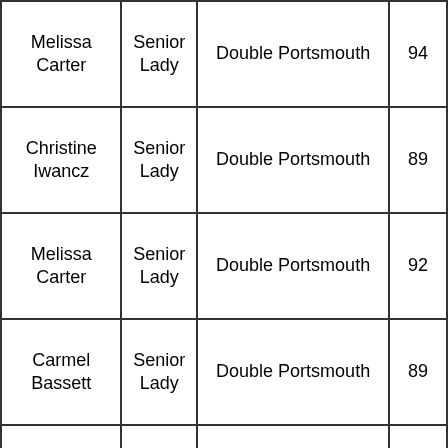| Name | Category | Round | Score |
| --- | --- | --- | --- |
| Melissa Carter | Senior Lady | Double Portsmouth | 94 |
| Christine Iwancz | Senior Lady | Double Portsmouth | 89 |
| Melissa Carter | Senior Lady | Double Portsmouth | 92 |
| Carmel Bassett | Senior Lady | Double Portsmouth | 89 |
| Dorothy Cooper | Senior Lady | Double Portsmouth | 101 |
| … | Senior… |  |  |